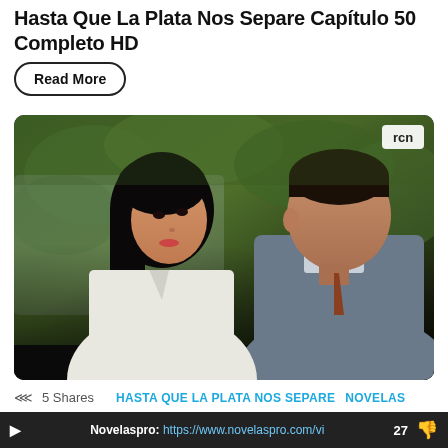Hasta Que La Plata Nos Separe Capítulo 50 Completo HD
Read More
[Figure (screenshot): Two people sitting in a car interior — a woman with long dark hair on the left looking at a man in a gray suit on the right. Green foliage visible through the car window. RCN logo visible in top right corner.]
5 Shares   HASTA QUE LA PLATA NOS SEPARE   NOVELAS
Hasta Que La Plata Nos Separe Capítulo 50
Novelaspro: https://www.novelaspro.com/vi   27